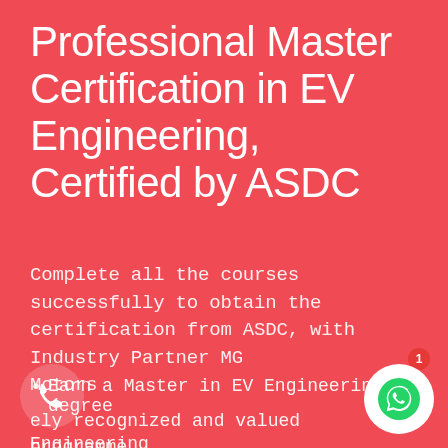Professional Master Certification in EV Engineering, Certified by ASDC
Complete all the courses successfully to obtain the certification from ASDC, with Industry Partner MG Motors
Earn a Master in EV Engineering degree
ely recognized and valued programme... EV Engineering
[Figure (illustration): White circular phone call button icon at bottom left]
[Figure (illustration): WhatsApp circular button icon at bottom right with red notification badge showing 1]